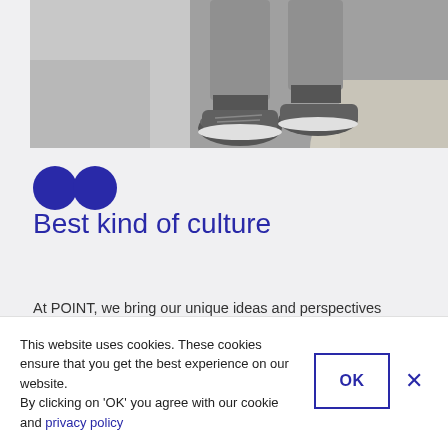[Figure (photo): Black and white photo of a person's legs and sneakers, seated near a curved desk or counter]
[Figure (other): Two overlapping blue circles (decorative quotation mark logo)]
Best kind of culture
At POINT, we bring our unique ideas and perspectives together to transform lives touched by cancer. With
This website uses cookies. These cookies ensure that you get the best experience on our website.
By clicking on 'OK' you agree with our cookie and privacy policy